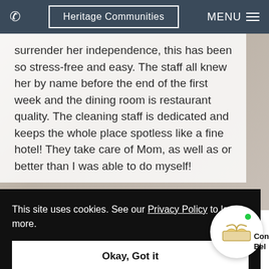Heritage Communities  MENU
surrender her independence, this has been so stress-free and easy. The staff all knew her by name before the end of the first week and the dining room is restaurant quality. The cleaning staff is dedicated and keeps the whole place spotless like a fine hotel! They take care of Mom, as well as or better than I was able to do myself!
This site uses cookies. See our Privacy Policy to learn more.
Okay, Got it